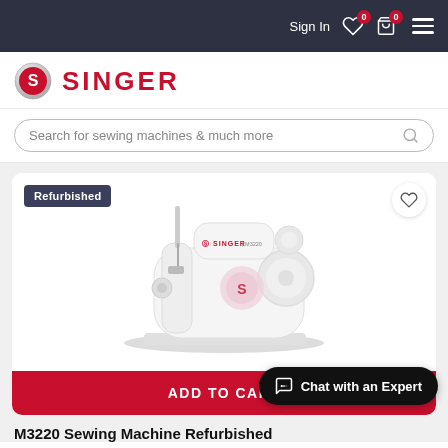Sign In  0  0
[Figure (logo): Singer brand logo with red circle S icon and SINGER text in red]
Search for sewing machines & much more
[Figure (photo): White Singer M3220 sewing machine on white background with Refurbished badge and wishlist heart icon]
ADD TO CART
Chat with an Expert
M3220 Sewing Machine Refurbished